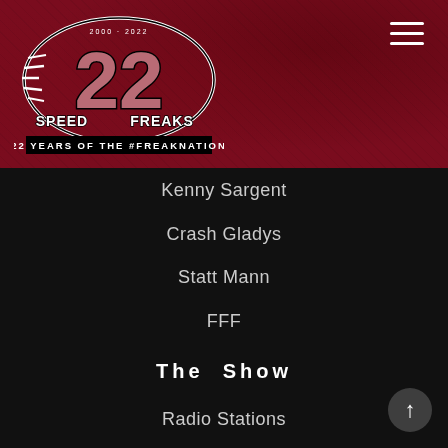[Figure (logo): Speed Freaks 22 logo with '22 YEARS OF THE #FREAKNATION' tagline on dark red background]
Kenny Sargent
Crash Gladys
Statt Mann
FFF
The Show
Radio Stations
Sponsors